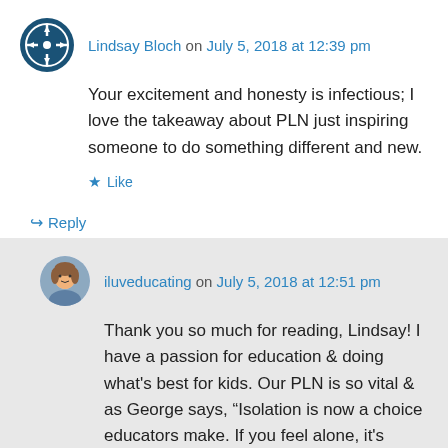Lindsay Bloch on July 5, 2018 at 12:39 pm
Your excitement and honesty is infectious; I love the takeaway about PLN just inspiring someone to do something different and new.
★ Like
↪ Reply
iluveducating on July 5, 2018 at 12:51 pm
Thank you so much for reading, Lindsay! I have a passion for education & doing what's best for kids. Our PLN is so vital & as George says, "Isolation is now a choice educators make. If you feel alone, it's